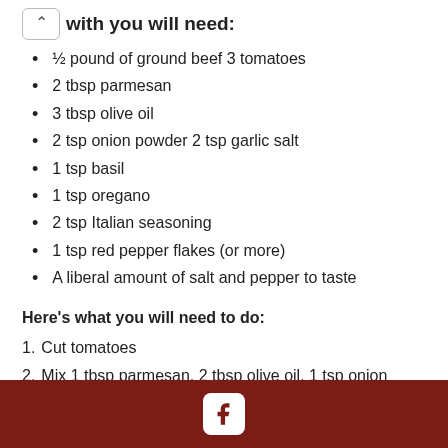with you will need:
½ pound of ground beef 3 tomatoes
2 tbsp parmesan
3 tbsp olive oil
2 tsp onion powder 2 tsp garlic salt
1 tsp basil
1 tsp oregano
2 tsp Italian seasoning
1 tsp red pepper flakes (or more)
A liberal amount of salt and pepper to taste
Here's what you will need to do:
1. Cut tomatoes
2. Mix 1 tbsp parmesan, 2 tbsp olive oil, 1 tsp onion powder, 1 tsp garlic salt, 1 tsp basil, 1 tsp oregano, 2 tsp Italian seasoning, 1 tsp red pepper flakes and tomatoes in a
Facebook icon